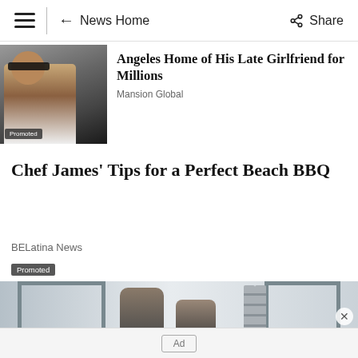≡ | ← News Home   Share
[Figure (photo): Photo of a man wearing sunglasses and a white outfit, with Promoted badge overlay]
Angeles Home of His Late Girlfriend for Millions
Mansion Global
Chef James' Tips for a Perfect Beach BBQ
BELatina News
Promoted
[Figure (photo): Photo of two men near window frames in an interior setting]
Ad